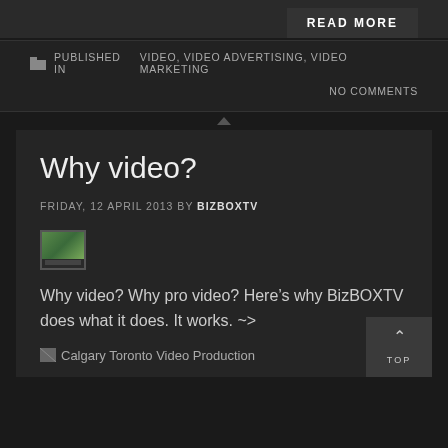READ MORE
PUBLISHED IN VIDEO, VIDEO ADVERTISING, VIDEO MARKETING
NO COMMENTS
Why video?
FRIDAY, 12 APRIL 2013 BY BIZBOXTV
[Figure (screenshot): Small thumbnail image of a monitor/laptop screen]
Why video? Why pro video? Here's why BizBOXTV does what it does. It works. ~>
[Figure (photo): Broken image placeholder: Calgary Toronto Video Production]